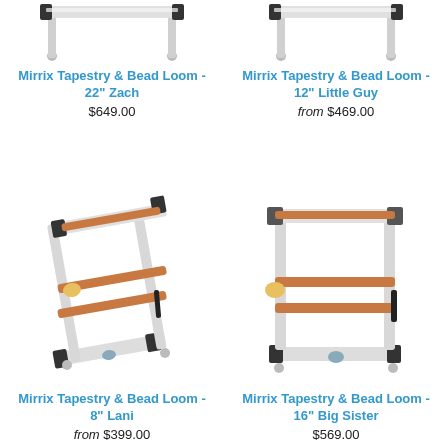[Figure (photo): Partial top view of Mirrix Tapestry & Bead Loom - 22" Zach, showing the top bar and feet]
Mirrix Tapestry & Bead Loom - 22" Zach
$649.00
[Figure (photo): Partial top view of Mirrix Tapestry & Bead Loom - 12" Little Guy, showing the top bar and feet]
Mirrix Tapestry & Bead Loom - 12" Little Guy
from $469.00
[Figure (photo): Full view of Mirrix Tapestry & Bead Loom - 8" Lani, showing the loom frame at an angle with copper and silver metal parts]
Mirrix Tapestry & Bead Loom - 8" Lani
from $399.00
[Figure (photo): Full view of Mirrix Tapestry & Bead Loom - 16" Big Sister, showing the loom frame straight on with copper and silver metal parts]
Mirrix Tapestry & Bead Loom - 16" Big Sister
$569.00